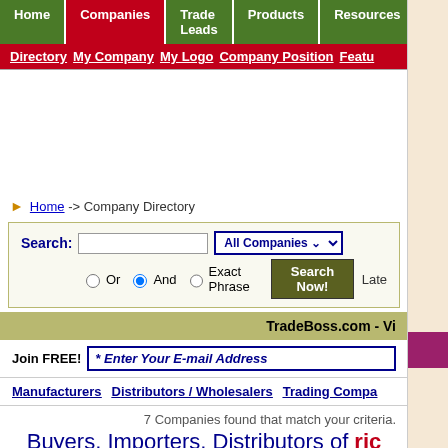Home | Companies | Trade Leads | Products | Resources | Buying
Directory | My Company | My Logo | Company Position | Featur
Home -> Company Directory
Search: [input] All Companies [dropdown] Or (radio) And (radio selected) Exact Phrase [Search Now!] Late
TradeBoss.com - Vi
Join FREE! * Enter Your E-mail Address
Manufacturers   Distributors / Wholesalers   Trading Compa
7 Companies found that match your criteria.
Buyers, Importers, Distributors of ric
Showing results from 1 to 7.
Company Index A B C D E F G H I J K L M N O P Q R S T U V W X